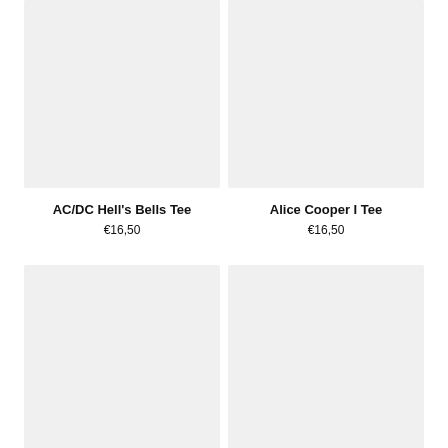[Figure (photo): Product image placeholder for AC/DC Hell's Bells Tee, light gray background]
[Figure (photo): Product image placeholder for Alice Cooper I Tee, light gray background]
AC/DC Hell's Bells Tee
€16,50
Alice Cooper I Tee
€16,50
[Figure (photo): Product image placeholder, bottom left, light gray background]
[Figure (photo): Product image placeholder, bottom right, light gray background]